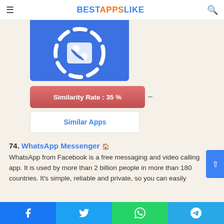BESTAPPSLIKE
[Figure (illustration): App icon with blue background showing a stylized phone/messaging icon in white]
Similarity Rate : 35 %
–
Similar Apps
74. WhatsApp Messenger
WhatsApp from Facebook is a free messaging and video calling app. It is used by more than 2 billion people in more than 180 countries. It's simple, reliable and private, so you can easily
Facebook  Twitter  WhatsApp  Telegram